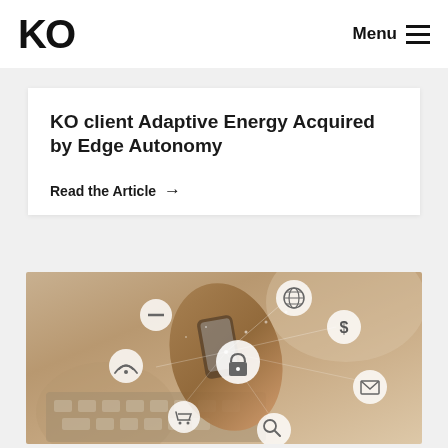KO | Menu
KO client Adaptive Energy Acquired by Edge Autonomy
Read the Article →
[Figure (photo): Person holding smartphone over laptop keyboard, with floating digital icons including globe, lock, dollar sign, WiFi, mail, cart, and search symbols overlaid on the image]